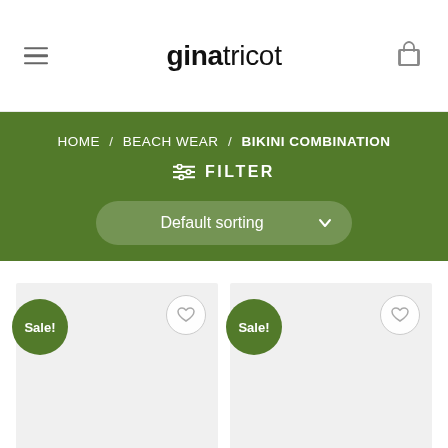ginatricot
HOME / BEACH WEAR / BIKINI COMBINATION
FILTER
Default sorting
[Figure (screenshot): Two product cards with Sale! badges and wishlist heart buttons on a light grey background]